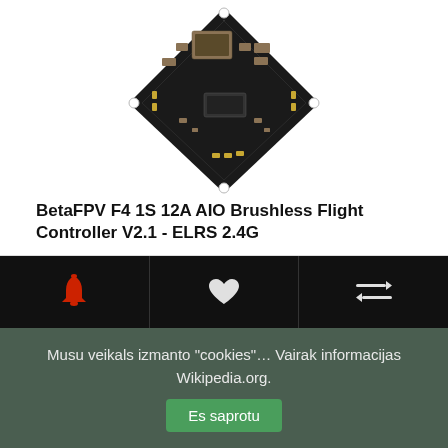[Figure (photo): BetaFPV F4 1S 12A AIO Brushless Flight Controller circuit board photo, diamond-shaped black PCB with gold connectors and white corner mounting holes, viewed from above]
BetaFPV F4 1S 12A AIO Brushless Flight Controller V2.1 - ELRS 2.4G
F4 1S 12A AIO Flight Controller - A 1S 12A FC for building lightweight 3" toothpick drones like HX11..
44.90€
bez PVN: 37.11€
[Figure (other): Three icon buttons on black bar: red bell/notification icon, heart/favorite icon, and compare arrows icon]
Musu veikals izmanto "cookies"… Vairak informacijas Wikipedia.org.  Es saprotu